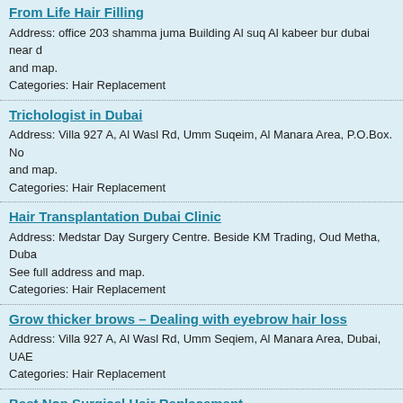From Life Hair Filling
Address: office 203 shamma juma Building Al suq Al kabeer bur dubai near d and map.
Categories: Hair Replacement
Trichologist in Dubai
Address: Villa 927 A, Al Wasl Rd, Umm Suqeim, Al Manara Area, P.O.Box. No and map.
Categories: Hair Replacement
Hair Transplantation Dubai Clinic
Address: Medstar Day Surgery Centre. Beside KM Trading, Oud Metha, Duba See full address and map.
Categories: Hair Replacement
Grow thicker brows – Dealing with eyebrow hair loss
Address: Villa 927 A, Al Wasl Rd, Umm Seqiem, Al Manara Area, Dubai, UAE
Categories: Hair Replacement
Best Non Surgical Hair Replacement
Address: Jumeirah Beach Road Umm Suqeim 1 – Villa 611, P.O. Box: 57394 map.
Categories: Hair Replacement